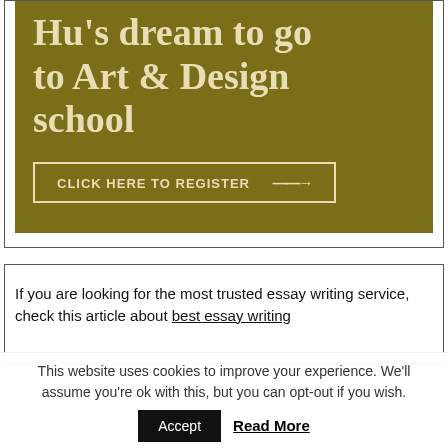[Figure (other): Olive/dark yellow banner with partial title text 'Hu's dream to go to Art & Design school' and a button 'CLICK HERE TO REGISTER →']
If you are looking for the most trusted essay writing service, check this article about best essay writing
This website uses cookies to improve your experience. We'll assume you're ok with this, but you can opt-out if you wish.
Accept  Read More